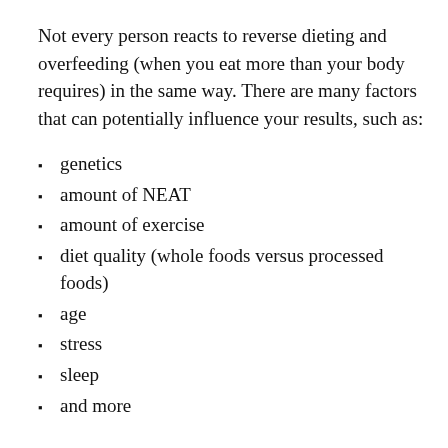Not every person reacts to reverse dieting and overfeeding (when you eat more than your body requires) in the same way. There are many factors that can potentially influence your results, such as:
genetics
amount of NEAT
amount of exercise
diet quality (whole foods versus processed foods)
age
stress
sleep
and more
The greatest risk when trying this strategy is that it won't work and you'll actually gain weight. While the hope is that your body and metabolism will get